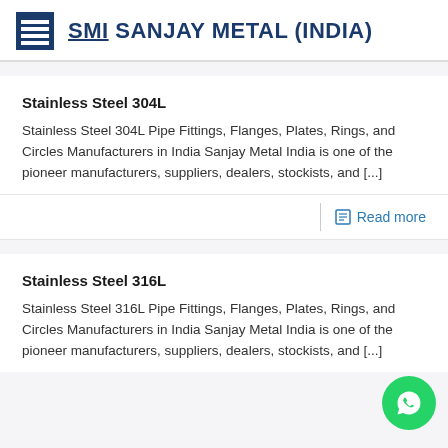SMI SANJAY METAL (INDIA)
Stainless Steel 304L
Stainless Steel 304L Pipe Fittings, Flanges, Plates, Rings, and Circles Manufacturers in India Sanjay Metal India is one of the pioneer manufacturers, suppliers, dealers, stockists, and [...]
Read more
Stainless Steel 316L
Stainless Steel 316L Pipe Fittings, Flanges, Plates, Rings, and Circles Manufacturers in India Sanjay Metal India is one of the pioneer manufacturers, suppliers, dealers, stockists, and [...]